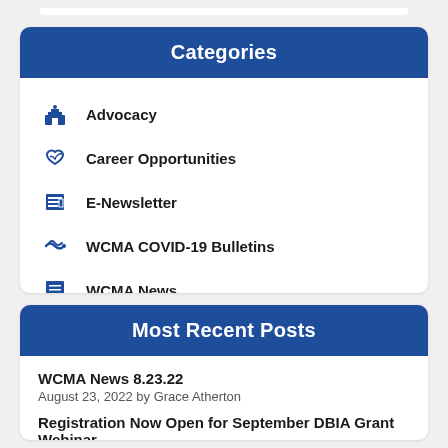Categories
Advocacy
Career Opportunities
E-Newsletter
WCMA COVID-19 Bulletins
WCMA News
Most Recent Posts
WCMA News 8.23.22
August 23, 2022 by Grace Atherton
Registration Now Open for September DBIA Grant Webinar